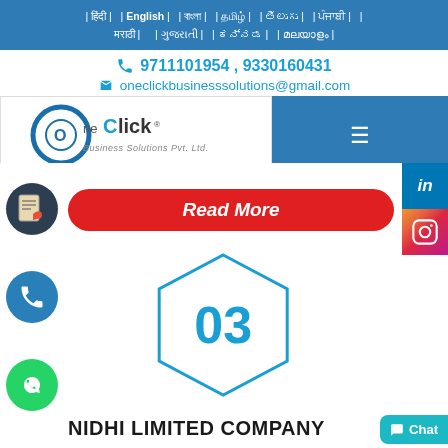| हिंदी | | English | | বাংলা | | தமிழ் | | తెలుగు | | ਪੰਜਾਬੀ | | मराठी | | ગુજરાતી | | ಕನ್ನಡ | | മലയാളം |
9711101954 , 9330160431
oneclickbusinesssolutions@gmail.com
[Figure (logo): OneClick Business Solutions Pvt. Ltd. logo with circular O and stylized text]
Read More
03
NIDHI LIMITED COMPANY